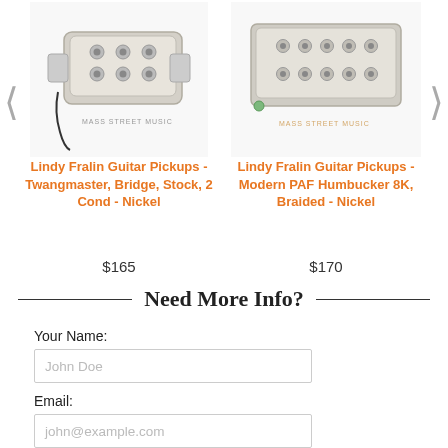[Figure (photo): Photo of a Lindy Fralin Twangmaster guitar pickup in nickel finish]
Lindy Fralin Guitar Pickups - Twangmaster, Bridge, Stock, 2 Cond - Nickel
$165
[Figure (photo): Photo of a Lindy Fralin Modern PAF Humbucker guitar pickup in nickel finish]
Lindy Fralin Guitar Pickups - Modern PAF Humbucker 8K, Braided - Nickel
$170
Need More Info?
Your Name:
John Doe
Email:
john@example.com